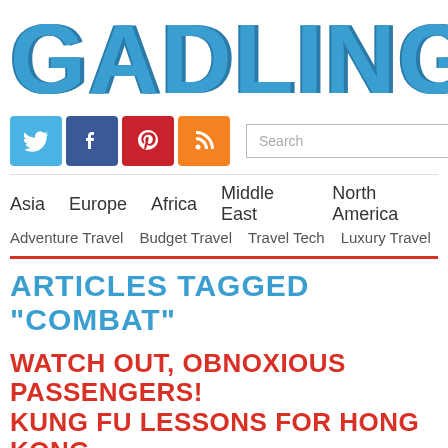GADLING
[Figure (logo): Social media icons: Twitter (blue), Facebook (dark blue), Pinterest (red), RSS (orange)]
Search  SEARCH
Asia  Europe  Africa  Middle East  North America
Adventure Travel  Budget Travel  Travel Tech  Luxury Travel
ARTICLES TAGGED "COMBAT"
WATCH OUT, OBNOXIOUS PASSENGERS!
KUNG FU LESSONS FOR HONG KONG